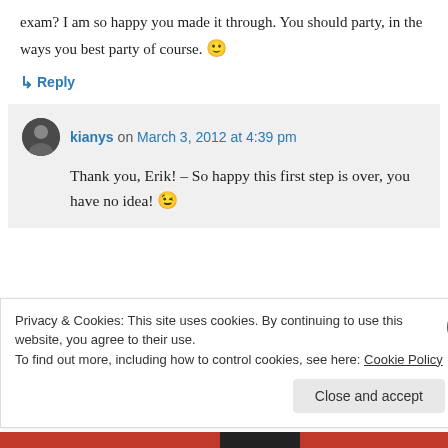exam? I am so happy you made it through. You should party, in the ways you best party of course. 🙂
↳ Reply
kianys on March 3, 2012 at 4:39 pm
Thank you, Erik! – So happy this first step is over, you have no idea! 😉
Privacy & Cookies: This site uses cookies. By continuing to use this website, you agree to their use.
To find out more, including how to control cookies, see here: Cookie Policy
Close and accept